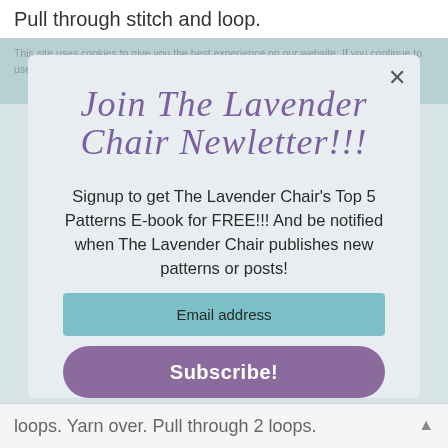Pull through stitch and loop.
This site uses cookies to give you the best experience on our website. If you continue to use this site we will assume that you are happy with it.
[Figure (other): Newsletter signup modal popup for 'Join The Lavender Chair Newletter!!!' with email input and Subscribe button]
loops. Yarn over. Pull through 2 loops.